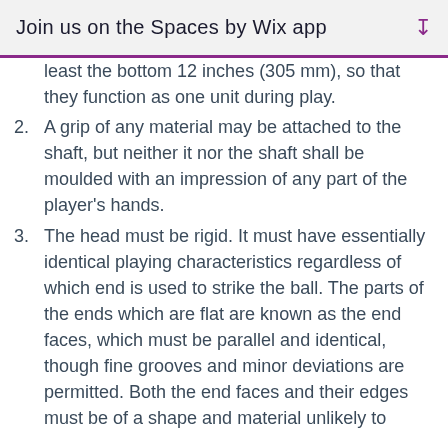Join us on the Spaces by Wix app
least the bottom 12 inches (305 mm), so that they function as one unit during play.
2. A grip of any material may be attached to the shaft, but neither it nor the shaft shall be moulded with an impression of any part of the player's hands.
3. The head must be rigid. It must have essentially identical playing characteristics regardless of which end is used to strike the ball. The parts of the ends which are flat are known as the end faces, which must be parallel and identical, though fine grooves and minor deviations are permitted. Both the end faces and their edges must be of a shape and material unlikely to